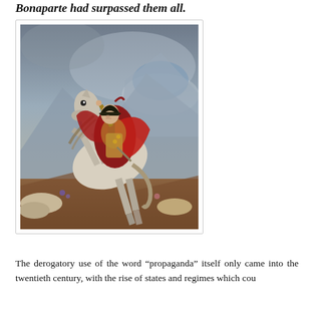Bonaparte had surpassed them all.
[Figure (illustration): Famous painting of Napoleon Bonaparte on horseback crossing the Alps, wearing a red cape and military hat, his white horse rearing up dramatically against a stormy sky with mountains in the background. Likely Jacques-Louis David's 'Napoleon Crossing the Alps'.]
The derogatory use of the word “propaganda” itself only came into the twentieth century, with the rise of states and regimes which cou